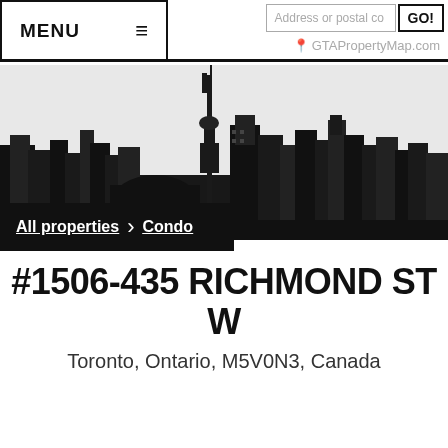MENU | Address or postal co | GO! | GTAPropertyMap.com
[Figure (illustration): Black and white Toronto skyline silhouette with CN Tower prominently shown against white sky]
All properties > Condo
#1506-435 RICHMOND ST W
Toronto, Ontario, M5V0N3, Canada